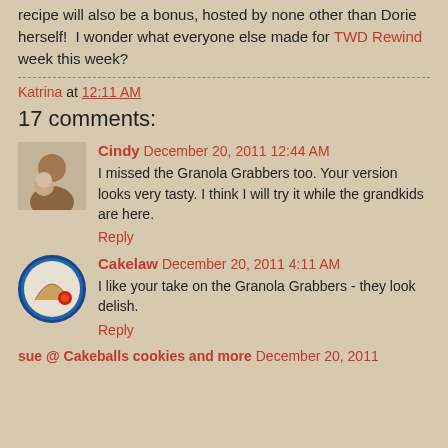recipe will also be a bonus, hosted by none other than Dorie herself! I wonder what everyone else made for TWD Rewind week this week?
Katrina at 12:11 AM
17 comments:
Cindy December 20, 2011 12:44 AM
I missed the Granola Grabbers too. Your version looks very tasty. I think I will try it while the grandkids are here.
Reply
Cakelaw December 20, 2011 4:11 AM
I like your take on the Granola Grabbers - they look delish.
Reply
sue @ Cakeballs cookies and more December 20, 2011